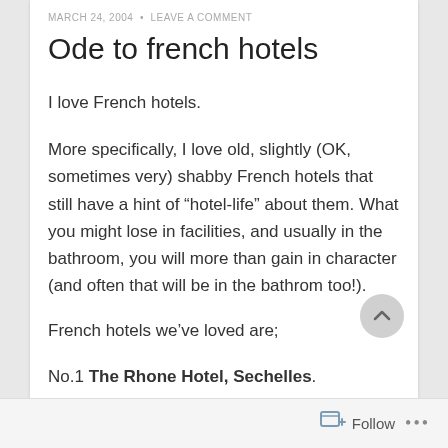MARCH 24, 2004  •  LEAVE A COMMENT
Ode to french hotels
I love French hotels.
More specifically, I love old, slightly (OK, sometimes very) shabby French hotels that still have a hint of “hotel-life” about them. What you might lose in facilities, and usually in the bathroom, you will more than gain in character (and often that will be in the bathrom too!).
French hotels we’ve loved are;
No.1 The Rhone Hotel, Sechelles.